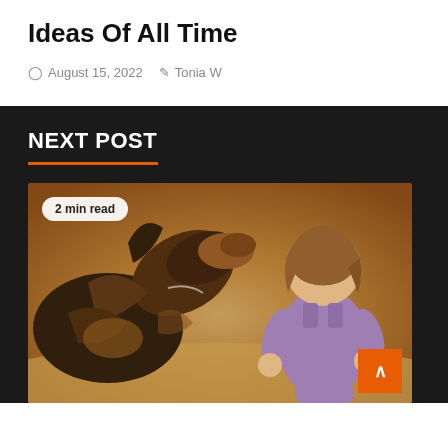Ideas Of All Time
August 15, 2022  Tonia W
NEXT POST
[Figure (photo): A German Shepherd dog and a young child in a purple onesie facing each other outdoors on a sandy/beach-like ground. Badge overlay reads '2 min read'. Orange scroll-to-top button in bottom right corner.]